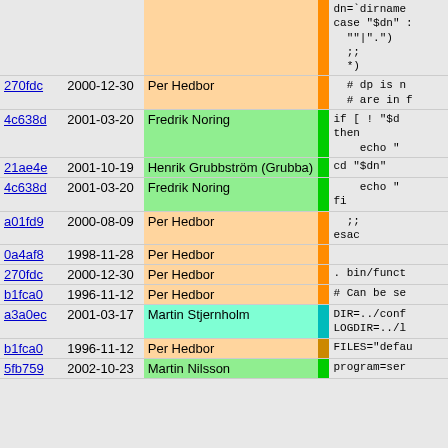| hash | date | author | bar | code |
| --- | --- | --- | --- | --- |
|  |  |  |  | dn=`dirname
case "$dn" :
""|"."
;;
*)
 |
| 270fdc | 2000-12-30 | Per Hedbor |  | # dp is n
# are in f |
| 4c638d | 2001-03-20 | Fredrik Noring |  | if [ ! "$
then
  echo " |
| 21ae4e | 2001-10-19 | Henrik Grubbström (Grubba) |  | cd "$dn" |
| 4c638d | 2001-03-20 | Fredrik Noring |  |   echo "
fi |
| a01fd9 | 2000-08-09 | Per Hedbor |  | ;;
esac |
| 0a4af8 | 1998-11-28 | Per Hedbor |  |  |
| 270fdc | 2000-12-30 | Per Hedbor |  | . bin/funct |
| b1fca0 | 1996-11-12 | Per Hedbor |  | # Can be se |
| a3a0ec | 2001-03-17 | Martin Stjernholm |  | DIR=../conf
LOGDIR=../l |
| b1fca0 | 1996-11-12 | Per Hedbor |  | FILES="defau |
| 5fb759 | 2002-10-23 | Martin Nilsson |  | program=ser |